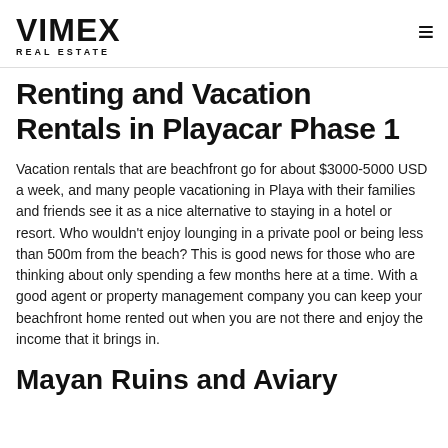VIMEX REAL ESTATE
Renting and Vacation Rentals in Playacar Phase 1
Vacation rentals that are beachfront go for about $3000-5000 USD a week, and many people vacationing in Playa with their families and friends see it as a nice alternative to staying in a hotel or resort. Who wouldn't enjoy lounging in a private pool or being less than 500m from the beach? This is good news for those who are thinking about only spending a few months here at a time. With a good agent or property management company you can keep your beachfront home rented out when you are not there and enjoy the income that it brings in.
Mayan Ruins and Aviary